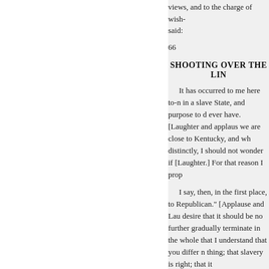views, and to the charge of wish-
said:
66
SHOOTING OVER THE LIN
It has occurred to me here to-n in a slave State, and purpose to d ever have. [Laughter and applaus we are close to Kentucky, and wh distinctly, I should not wonder if [Laughter.] For that reason I prop
I say, then, in the first place, to Republican." [Applause and Lau desire that it should be no further gradually terminate in the whole that I understand that you differ n thing; that slavery is right; that it
perpetuated in this Union. Now, myself to you, Kentuckians, to at upon it. I only propose to try to s my distinguished friend, Judge D I understand he is as sincerely fo